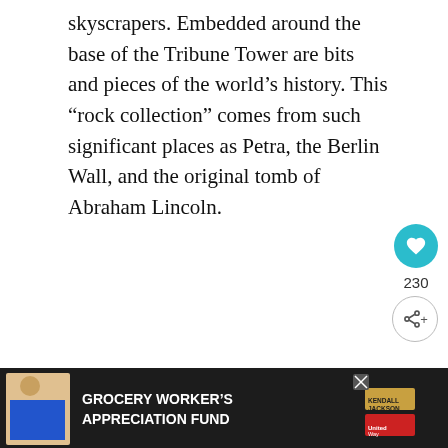skyscrapers. Embedded around the base of the Tribune Tower are bits and pieces of the world’s history. This “rock collection” comes from such significant places as Petra, the Berlin Wall, and the original tomb of Abraham Lincoln.
Some were obtained with permission; some were not. 435 N Michigan Ave
Willis Tower
Rising high above the Chicago skyline the Willis Tower is one of the city’s most...